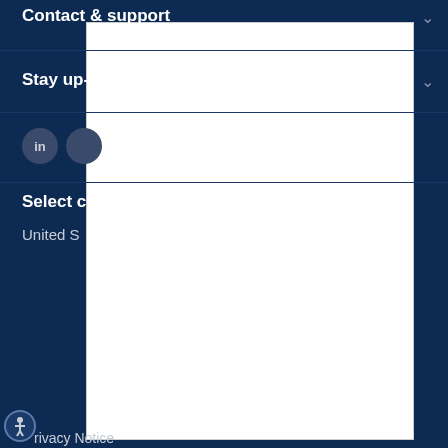Contact & support
Stay up-
[Figure (logo): LinkedIn circular icon with 'in' text on dark navy background]
[Figure (logo): Second social media circular icon on dark navy background]
Select c
United S
[Figure (logo): Philips shield logo with stars and waves on dark navy background]
[Figure (screenshot): White overlay modal/popup covering most of the page]
rivacy Notice
[Figure (illustration): Accessibility icon - person figure in circle with blue border]